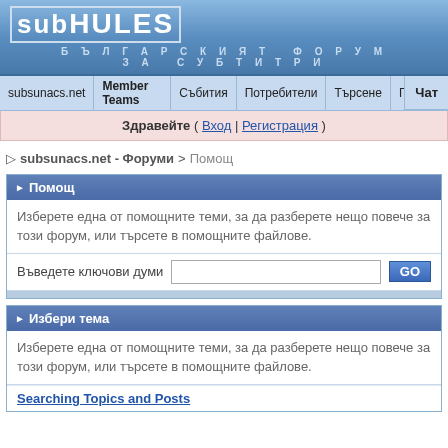[Figure (logo): SubHULES logo - styled text with border, white on blue gradient background]
БЪЛГАРСКИЯТ ФОРУМ ЗА СУБТИТРИ
subsunacs.net | Member Teams | Събития | Потребители | Търсене | Помощ | Чат
Здравейте ( Вход | Регистрация )
▷ subsunacs.net - Форуми > Помощ
▸ Помощ
Изберете една от помощните теми, за да разберете нещо повече за този форум, или търсете в помощните файлове.
Въведете ключови думи
▸ Избери тема
Изберете една от помощните теми, за да разберете нещо повече за този форум, или търсете в помощните файлове.
Searching Topics and Posts